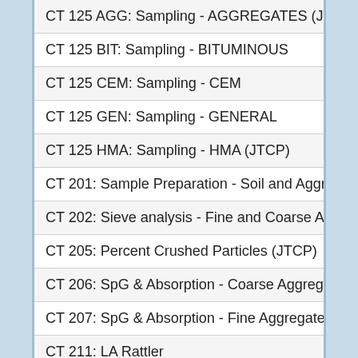CT 125 AGG: Sampling - AGGREGATES (JTCP)
CT 125 BIT: Sampling - BITUMINOUS
CT 125 CEM: Sampling - CEM
CT 125 GEN: Sampling - GENERAL
CT 125 HMA: Sampling - HMA (JTCP)
CT 201: Sample Preparation - Soil and Aggregates
CT 202: Sieve analysis - Fine and Coarse Aggregates
CT 205: Percent Crushed Particles (JTCP)
CT 206: SpG & Absorption - Coarse Aggregates
CT 207: SpG & Absorption - Fine Aggregates
CT 211: LA Rattler
CT 216: Relative Compaction - Soils and Aggregates